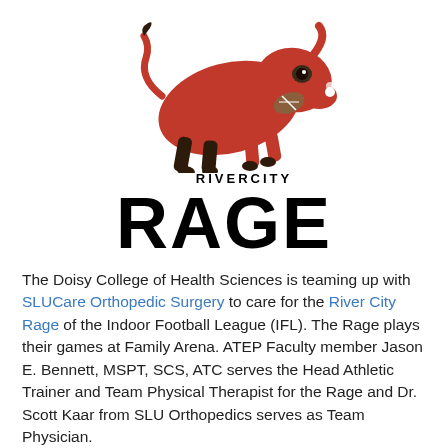[Figure (logo): River City Rage logo — red bull charging with a football, text RIVERCITY above and RAGE in large bold letters below]
The Doisy College of Health Sciences is teaming up with SLUCare Orthopedic Surgery to care for the River City Rage of the Indoor Football League (IFL). The Rage plays their games at Family Arena. ATEP Faculty member Jason E. Bennett, MSPT, SCS, ATC serves the Head Athletic Trainer and Team Physical Therapist for the Rage and Dr. Scott Kaar from SLU Orthopedics serves as Team Physician.
[Figure (photo): Interior photo of Family Arena showing empty stadium seating rows in dark lighting]